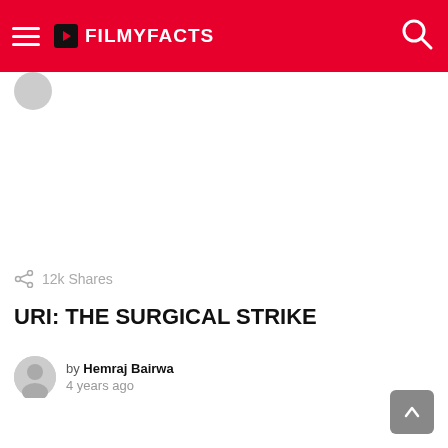FILMYFACTS
12k Shares
URI: THE SURGICAL STRIKE
by Hemraj Bairwa
4 years ago